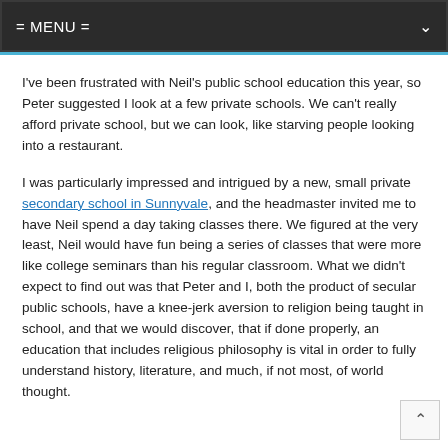= MENU =
I've been frustrated with Neil's public school education this year, so Peter suggested I look at a few private schools. We can't really afford private school, but we can look, like starving people looking into a restaurant.
I was particularly impressed and intrigued by a new, small private secondary school in Sunnyvale, and the headmaster invited me to have Neil spend a day taking classes there. We figured at the very least, Neil would have fun being a series of classes that were more like college seminars than his regular classroom. What we didn't expect to find out was that Peter and I, both the product of secular public schools, have a knee-jerk aversion to religion being taught in school, and that we would discover, that if done properly, an education that includes religious philosophy is vital in order to fully understand history, literature, and much, if not most, of world thought.